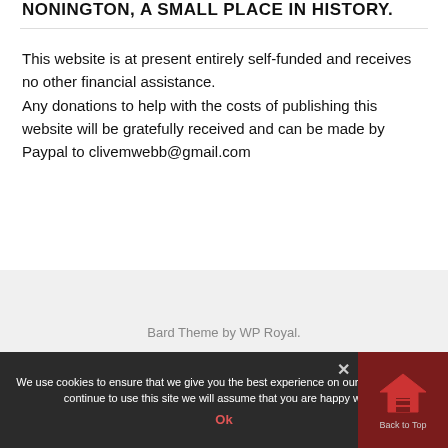NONINGTON, A SMALL PLACE IN HISTORY.
This website is at present entirely self-funded and receives no other financial assistance.
Any donations to help with the costs of publishing this website will be gratefully received and can be made by Paypal to clivemwebb@gmail.com
Bard Theme by WP Royal.
We use cookies to ensure that we give you the best experience on our website. If you continue to use this site we will assume that you are happy with it.
Ok
BACK TO TOP
Back to Top